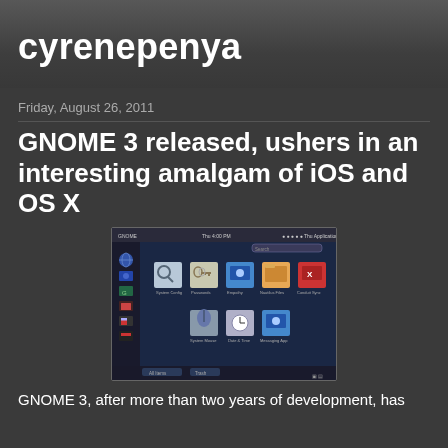cyrenepenya
Friday, August 26, 2011
GNOME 3 released, ushers in an interesting amalgam of iOS and OS X
[Figure (screenshot): GNOME 3 desktop screenshot showing application icons grid with dark blue background, sidebar with small app icons, and a search bar at top]
GNOME 3, after more than two years of development, has